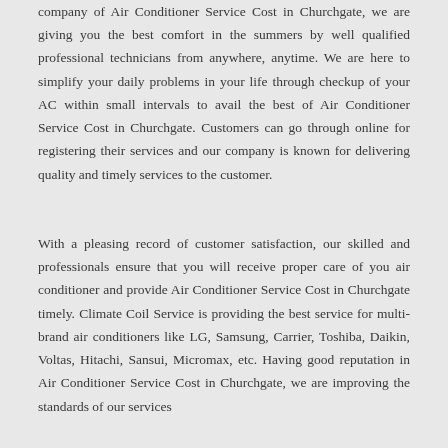company of Air Conditioner Service Cost in Churchgate, we are giving you the best comfort in the summers by well qualified professional technicians from anywhere, anytime. We are here to simplify your daily problems in your life through checkup of your AC within small intervals to avail the best of Air Conditioner Service Cost in Churchgate. Customers can go through online for registering their services and our company is known for delivering quality and timely services to the customer.
With a pleasing record of customer satisfaction, our skilled and professionals ensure that you will receive proper care of you air conditioner and provide Air Conditioner Service Cost in Churchgate timely. Climate Coil Service is providing the best service for multi-brand air conditioners like LG, Samsung, Carrier, Toshiba, Daikin, Voltas, Hitachi, Sansui, Micromax, etc. Having good reputation in Air Conditioner Service Cost in Churchgate, we are improving the standards of our services based on the customers today's Market Clientele and